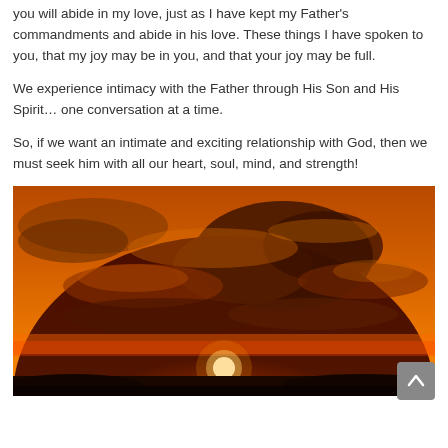you will abide in my love, just as I have kept my Father's commandments and abide in his love. These things I have spoken to you, that my joy may be in you, and that your joy may be full.
We experience intimacy with the Father through His Son and His Spirit… one conversation at a time.
So, if we want an intimate and exciting relationship with God, then we must seek him with all our heart, soul, mind, and strength!
[Figure (photo): A dramatic sunset photograph showing a dark silhouetted landscape at the bottom with a glowing orange and red sky filled with dramatic storm clouds. The sun is visible near the horizon as a bright white orb, casting warm orange and golden light through the clouds.]